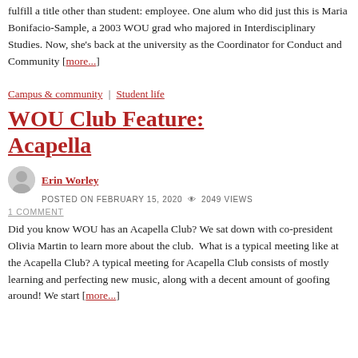fulfill a title other than student: employee. One alum who did just this is Maria Bonifacio-Sample, a 2003 WOU grad who majored in Interdisciplinary Studies. Now, she's back at the university as the Coordinator for Conduct and Community [more...]
Campus & community | Student life
WOU Club Feature: Acapella
Erin Worley
POSTED ON FEBRUARY 15, 2020  2049 VIEWS
1 COMMENT
Did you know WOU has an Acapella Club? We sat down with co-president Olivia Martin to learn more about the club.  What is a typical meeting like at the Acapella Club? A typical meeting for Acapella Club consists of mostly learning and perfecting new music, along with a decent amount of goofing around! We start [more...]